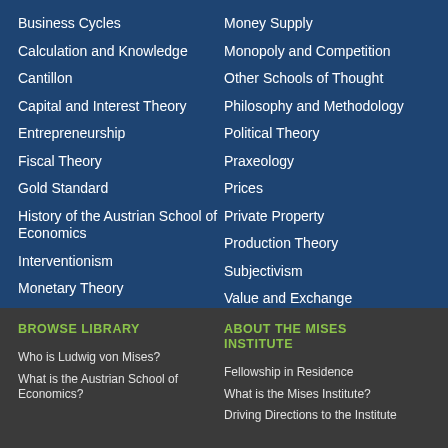Business Cycles
Calculation and Knowledge
Cantillon
Capital and Interest Theory
Entrepreneurship
Fiscal Theory
Gold Standard
History of the Austrian School of Economics
Interventionism
Monetary Theory
Money Supply
Monopoly and Competition
Other Schools of Thought
Philosophy and Methodology
Political Theory
Praxeology
Prices
Private Property
Production Theory
Subjectivism
Value and Exchange
BROWSE LIBRARY
Who is Ludwig von Mises?
What is the Austrian School of Economics?
ABOUT THE MISES INSTITUTE
Fellowship in Residence
What is the Mises Institute?
Driving Directions to the Institute